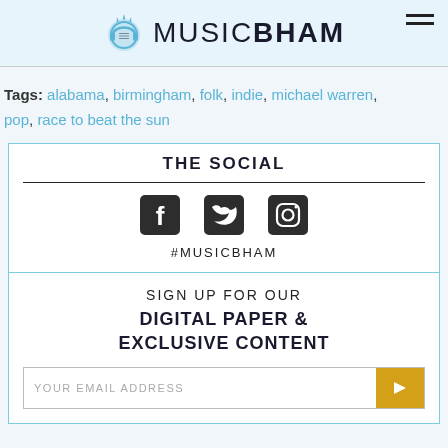MUSICBHAM
Tags: alabama, birmingham, folk, indie, michael warren, pop, race to beat the sun
THE SOCIAL
[Figure (illustration): Social media icons: Facebook, Twitter, Instagram]
#MUSICBHAM
SIGN UP FOR OUR
DIGITAL PAPER & EXCLUSIVE CONTENT
YOUR EMAIL ADDRESS